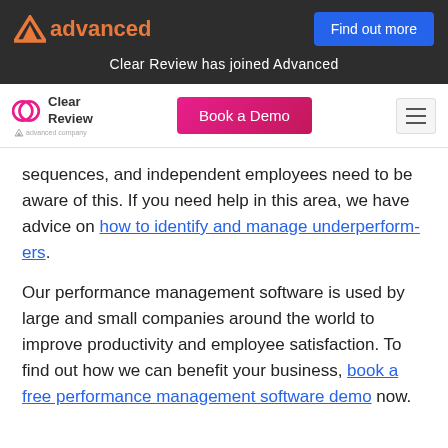[Figure (logo): Advanced logo with orange triangle and orange 'advanced' text on dark banner, with a 'Find out more' blue button]
Clear Review has joined Advanced
[Figure (logo): Clear Review logo (speech bubble icon, 'Clear Review' text, 'an advanced company' sub-text) with a pink 'Book a Demo' button and hamburger menu icon]
sequences, and independent employees need to be aware of this. If you need help in this area, we have advice on how to identify and manage underperformers.
Our performance management software is used by large and small companies around the world to improve productivity and employee satisfaction. To find out how we can benefit your business, book a free performance management software demo now.